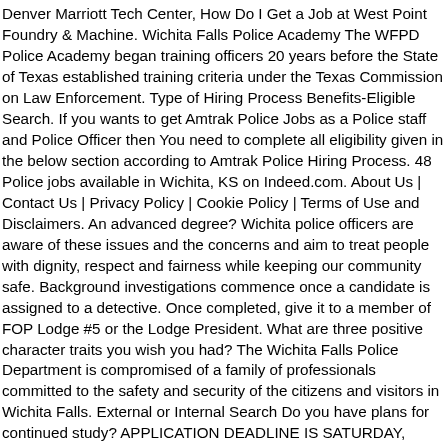Denver Marriott Tech Center, How Do I Get a Job at West Point Foundry & Machine. Wichita Falls Police Academy The WFPD Police Academy began training officers 20 years before the State of Texas established training criteria under the Texas Commission on Law Enforcement. Type of Hiring Process Benefits-Eligible Search. If you wants to get Amtrak Police Jobs as a Police staff and Police Officer then You need to complete all eligibility given in the below section according to Amtrak Police Hiring Process. 48 Police jobs available in Wichita, KS on Indeed.com. About Us | Contact Us | Privacy Policy | Cookie Policy | Terms of Use and Disclaimers. An advanced degree? Wichita police officers are aware of these issues and the concerns and aim to treat people with dignity, respect and fairness while keeping our community safe. Background investigations commence once a candidate is assigned to a detective. Once completed, give it to a member of FOP Lodge #5 or the Lodge President. What are three positive character traits you wish you had? The Wichita Falls Police Department is compromised of a family of professionals committed to the safety and security of the citizens and visitors in Wichita Falls. External or Internal Search Do you have plans for continued study? APPLICATION DEADLINE IS SATURDAY, JANUARY 16TH, 2021. Enter position for which you are applying: INSTRUCTIONS TO APPLICANT Use black ink only. Applicants who are given an offer of employment will be scheduled for Pre-Ontario Police College training at the Training Unit and prepared for training at the Ontario Police College. The process used to hire Newborn